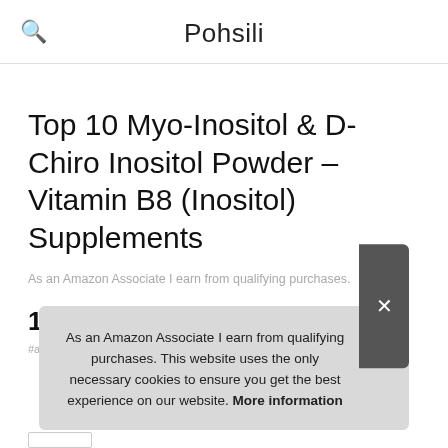Pohsili
Top 10 Myo-Inositol & D-Chiro Inositol Powder – Vitamin B8 (Inositol) Supplements
As an Amazon Associate I earn from qualifying purchases.
1. Wholesome Story
#ad
As an Amazon Associate I earn from qualifying purchases. This website uses the only necessary cookies to ensure you get the best experience on our website. More information